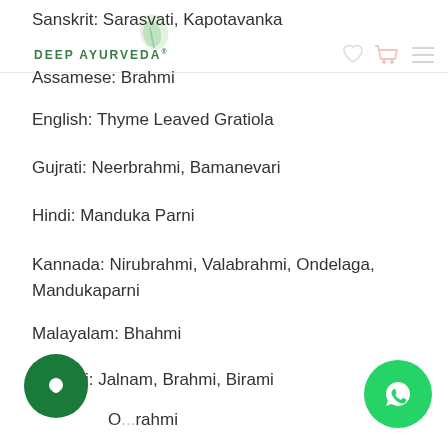Deep Ayurveda
Sanskrit: Sarasvati, Kapotavanka
Assamese: Brahmi
English: Thyme Leaved Gratiola
Gujrati: Neerbrahmi, Bamanevari
Hindi: Manduka Parni
Kannada: Nirubrahmi, Valabrahmi, Ondelaga, Mandukaparni
Malayalam: Bhahmi
Marathi: Jalnam, Brahmi, Birami
O...rahmi